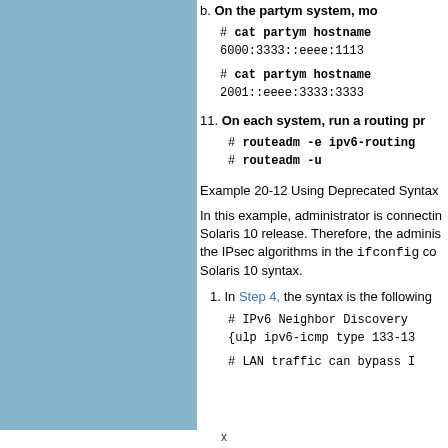b. On the partym system, mo...
# cat partym hostname
6000:3333::eeee:1113
# cat partym hostname
2001::eeee:3333:3333
11. On each system, run a routing pr...
# routeadm -e ipv6-routing
# routeadm -u
Example 20-12 Using Deprecated Syntax
In this example, administrator is connectin... Solaris 10 release. Therefore, the adminis... the IPsec algorithms in the ifconfig co... Solaris 10 syntax.
1. In Step 4, the syntax is the following...
# IPv6 Neighbor Discovery
{ulp ipv6-icmp type 133-13...
# LAN traffic can bypass I...
x